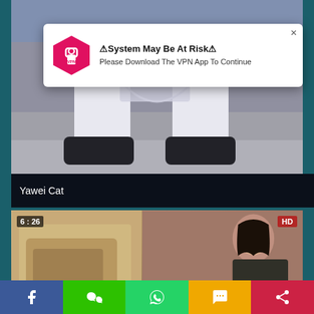[Figure (screenshot): Top video thumbnail showing white socks and shoes on outdoor steps]
[Figure (infographic): VPN popup overlay with pink hexagon VPN logo, title '⚠System May Be At Risk⚠' and subtitle 'Please Download The VPN App To Continue']
Yawei Cat
[Figure (screenshot): Bottom video thumbnail with 6:26 duration badge and HD badge, showing a woman on a couch]
[Figure (infographic): Bottom share bar with Facebook, WeChat, WhatsApp, SMS, and share buttons]